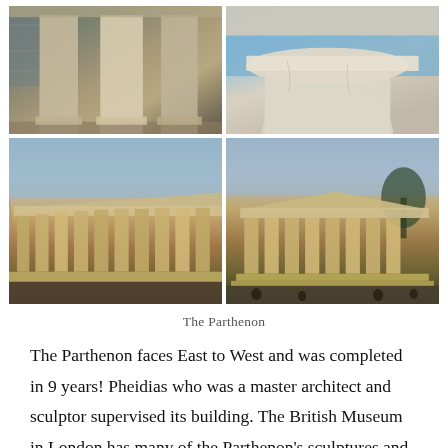[Figure (photo): Four photographs of the Parthenon arranged in a 2x2 grid. Top-left: close-up of thick marble columns with scaffolding in the background. Top-right: close-up of a column capital and architrave against blue sky. Bottom-left: wide angle view of Parthenon columns at dusk from the side. Bottom-right: Parthenon viewed from the front at dusk with people visible below.]
The Parthenon
The Parthenon faces East to West and was completed in 9 years! Pheidias who was a master architect and sculptor supervised its building. The British Museum in London has many of the Parthenon’s sculptures and reliefs, the Acropolis museum has a few and others have